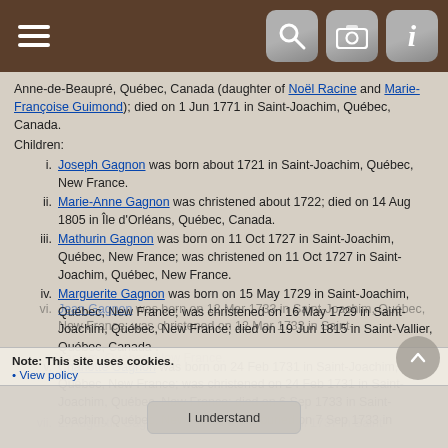Navigation toolbar with hamburger menu, search, camera, and info icons
Anne-de-Beaupré, Québec, Canada (daughter of Noël Racine and Marie-Françoise Guimond); died on 1 Jun 1771 in Saint-Joachim, Québec, Canada.
Children:
i. Joseph Gagnon was born about 1721 in Saint-Joachim, Québec, New France.
ii. Marie-Anne Gagnon was christened about 1722; died on 14 Aug 1805 in Île d'Orléans, Québec, Canada.
iii. Mathurin Gagnon was born on 11 Oct 1727 in Saint-Joachim, Québec, New France; was christened on 11 Oct 1727 in Saint-Joachim, Québec, New France.
iv. Marguerite Gagnon was born on 15 May 1729 in Saint-Joachim, Québec, New France; was christened on 16 May 1729 in Saint-Joachim, Québec, New France; died on 19 Jun 1815 in Saint-Vallier, Québec, Canada .
v. Charlotte Gagnon was born on 24 Feb 1731 in Saint-Joachim, Québec, New France; was christened on 24 Feb 1731 in Saint-Joachim, Québec, New France; died on 6 Sep 1733 in Saint-Joachim, Québec, New France; was buried on 7 Sep 1733 in Saint-Joachim, Québec, New France.
vi. Jean Gagnon was born on 12 Mar 1733 in Saint-Joachim, Québec, New France; was christened on 12 Mar 1733 in Saint-Joachim, Québec, New France.
vii. 2. Augustin Gagnon was christened on 12 Jul 1737 in Saint-Joachim, Québec, New France.
Note: This site uses cookies.
• View policy
I understand